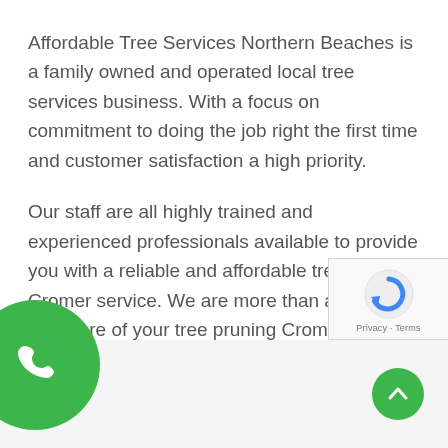Affordable Tree Services Northern Beaches is a family owned and operated local tree services business. With a focus on commitment to doing the job right the first time and customer satisfaction a high priority.
Our staff are all highly trained and experienced professionals available to provide you with a reliable and affordable tree pruning Cromer service. We are more than able to take care of your tree pruning Cromer requirements.
[Figure (other): reCAPTCHA widget with Privacy and Terms links]
[Figure (other): Green circular phone call button in bottom left corner]
[Figure (other): Green circular up arrow scroll-to-top button in bottom right corner]